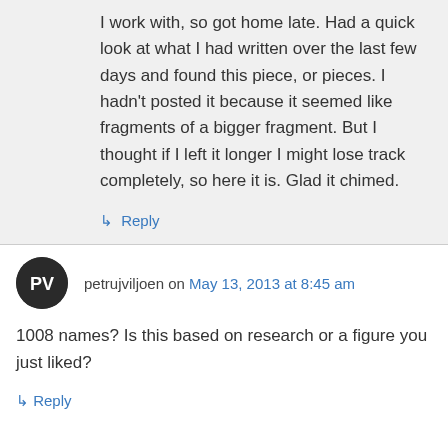I work with, so got home late. Had a quick look at what I had written over the last few days and found this piece, or pieces. I hadn't posted it because it seemed like fragments of a bigger fragment. But I thought if I left it longer I might lose track completely, so here it is. Glad it chimed.
↳ Reply
petrujviljoen on May 13, 2013 at 8:45 am
1008 names? Is this based on research or a figure you just liked?
↳ Reply